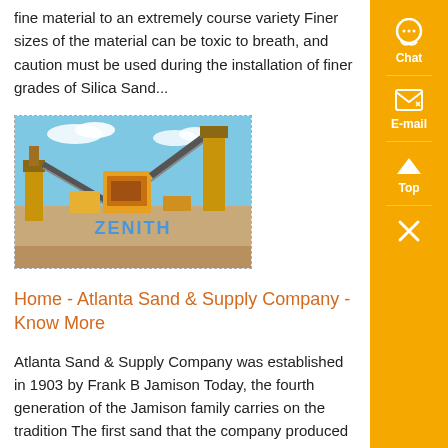fine material to an extremely course variety Finer sizes of the material can be toxic to breath, and caution must be used during the installation of finer grades of Silica Sand...
[Figure (photo): Industrial sand processing/crushing facility with conveyor belts and machinery, branded with ZENITH logo]
Home - Atlanta Sand & Supply Company - Know More
Atlanta Sand & Supply Company was established in 1903 by Frank B Jamison Today, the fourth generation of the Jamison family carries on the tradition The first sand that the company produced was used by the Railroad as traction sand The engines would drop small amounts of